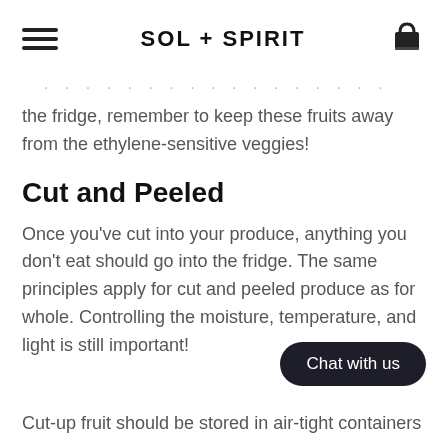SOL + SPIRIT
the fridge, remember to keep these fruits away from the ethylene-sensitive veggies!
Cut and Peeled
Once you've cut into your produce, anything you don't eat should go into the fridge. The same principles apply for cut and peeled produce as for whole. Controlling the moisture, temperature, and light is still important!
Cut-up fruit should be stored in air-tight containers